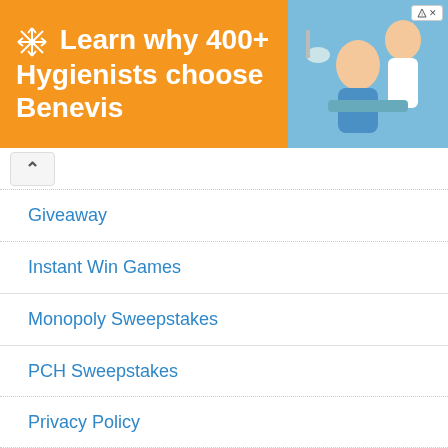[Figure (screenshot): Orange advertisement banner reading 'Learn why 400+ Hygienists choose Benevis' with a photo of a child at a dental appointment on the right]
Giveaway
Instant Win Games
Monopoly Sweepstakes
PCH Sweepstakes
Privacy Policy
Submit Contest
Sweepstakes